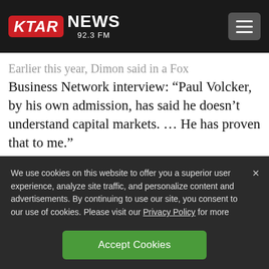KTAR NEWS 92.3 FM
Earlier this year, Dimon said in a Fox Business Network interview: “Paul Volcker, by his own admission, has said he doesn’t understand capital markets. … He has proven that to me.”
We use cookies on this website to offer you a superior user experience, analyze site traffic, and personalize content and advertisements. By continuing to use our site, you consent to our use of cookies. Please visit our Privacy Policy for more information.
Accept Cookies